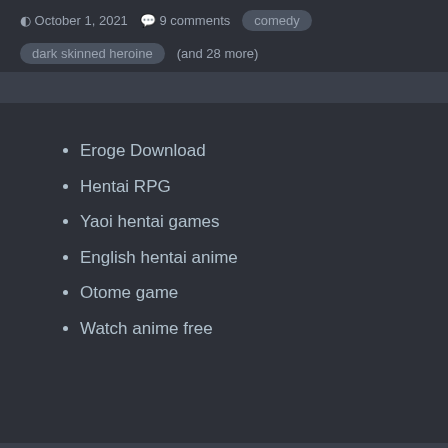October 1, 2021   9 comments
comedy   dark skinned heroine   (and 28 more)
Eroge Download
Hentai RPG
Yaoi hentai games
English hentai anime
Otome game
Watch anime free
Home   Search
ErogeGames © 2010 - 2021   Contact Us